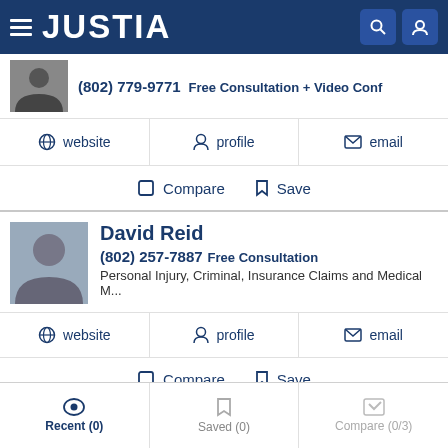JUSTIA
(802) 779-9771  Free Consultation + Video Conf
website  |  profile  |  email
Compare  Save
David Reid
(802) 257-7887  Free Consultation
Personal Injury, Criminal, Insurance Claims and Medical M...
website  |  profile  |  email
Compare  Save
Recent (0)  Saved (0)  Compare (0/3)